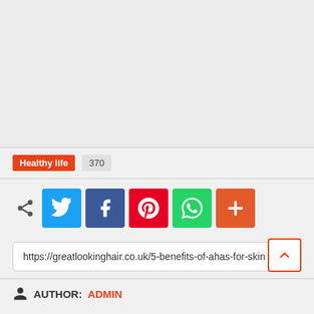[Figure (other): Gray empty area at top of page, likely an ad or image placeholder]
Healthy life   370
[Figure (infographic): Social share buttons row: share icon, Twitter (blue), Facebook (dark blue), Pinterest (red), WhatsApp (green), More (orange-red)]
https://greatlookinghair.co.uk/5-benefits-of-ahas-for-skin
AUTHOR: ADMIN